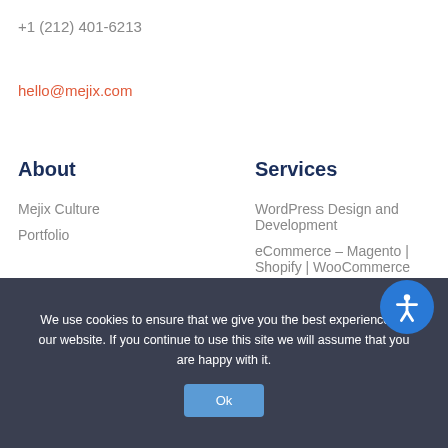+1 (212) 401-6213
hello@mejix.com
About
Services
Mejix Culture
Portfolio
WordPress Design and Development
eCommerce – Magento | Shopify | WooCommerce
We use cookies to ensure that we give you the best experience on our website. If you continue to use this site we will assume that you are happy with it.